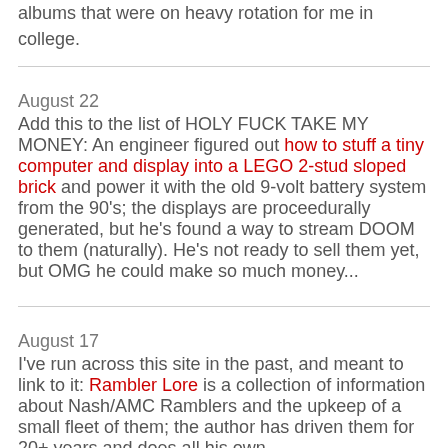albums that were on heavy rotation for me in college.
August 22
Add this to the list of HOLY FUCK TAKE MY MONEY: An engineer figured out how to stuff a tiny computer and display into a LEGO 2-stud sloped brick and power it with the old 9-volt battery system from the 90's; the displays are proceedurally generated, but he's found a way to stream DOOM to them (naturally). He's not ready to sell them yet, but OMG he could make so much money...
August 17
I've run across this site in the past, and meant to link to it: Rambler Lore is a collection of information about Nash/AMC Ramblers and the upkeep of a small fleet of them; the author has driven them for 20+ years and does all his own mechanical/engineerig/fabrication. This is the